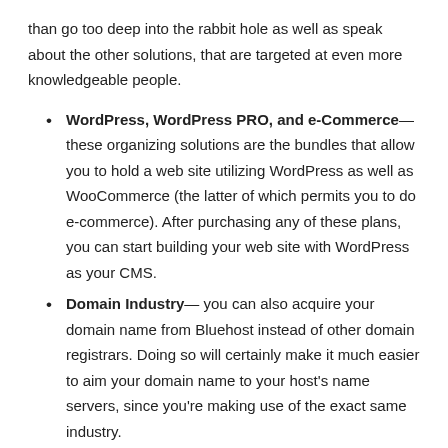than go too deep into the rabbit hole as well as speak about the other solutions, that are targeted at even more knowledgeable people.
WordPress, WordPress PRO, and e-Commerce— these organizing solutions are the bundles that allow you to hold a web site utilizing WordPress as well as WooCommerce (the latter of which permits you to do e-commerce). After purchasing any of these plans, you can start building your web site with WordPress as your CMS.
Domain Industry— you can also acquire your domain name from Bluehost instead of other domain registrars. Doing so will certainly make it much easier to aim your domain name to your host's name servers, since you're making use of the exact same industry.
Email— as soon as you have purchased your domain name, it makes sense to also obtain an email address connected to it. As a blogger or on the internet entrepreneur,